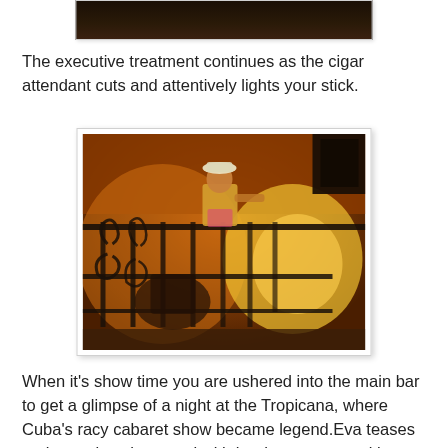[Figure (photo): Partial photo at top of page showing a dark interior scene, cut off at top]
The executive treatment continues as the cigar attendant cuts and attentively lights your stick.
[Figure (photo): Photo of a performer in a white hat standing on an ornate wrought-iron balcony railing, lit by warm orange/amber stage lighting with a dramatic spotlight and shadow]
When it's show time you are ushered into the main bar to get a glimpse of a night at the Tropicana, where Cuba's racy cabaret show became legend.Eva teases and provokes the crowd with her hot moves and long stares.